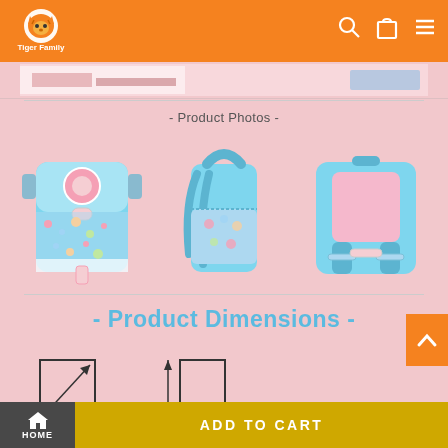[Figure (logo): Tiger Family logo - orange tiger illustration with text 'Tiger Family' below]
[Figure (screenshot): Navigation icons: search (magnifying glass), cart (shopping bag), hamburger menu]
[Figure (screenshot): Partial product information strip visible at top of main content area]
- Product Photos -
[Figure (photo): Three views of a light blue/teal school backpack with pink floral/bubble design: front view, side view, and back view]
- Product Dimensions -
[Figure (engineering-diagram): Line diagrams showing product dimension measurements - two rectangular outlines with measurement arrows]
[Figure (other): Orange scroll-to-top button with upward chevron arrow]
HOME
ADD TO CART